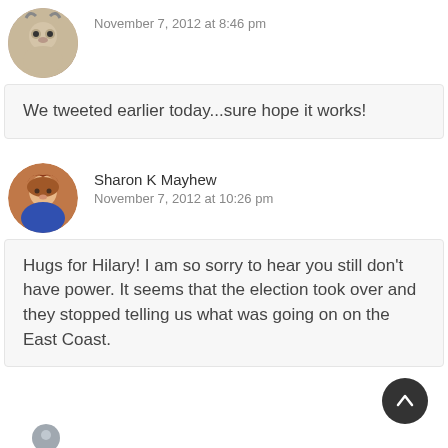November 7, 2012 at 8:46 pm
We tweeted earlier today...sure hope it works!
Sharon K Mayhew
November 7, 2012 at 10:26 pm
Hugs for Hilary! I am so sorry to hear you still don't have power. It seems that the election took over and they stopped telling us what was going on on the East Coast.